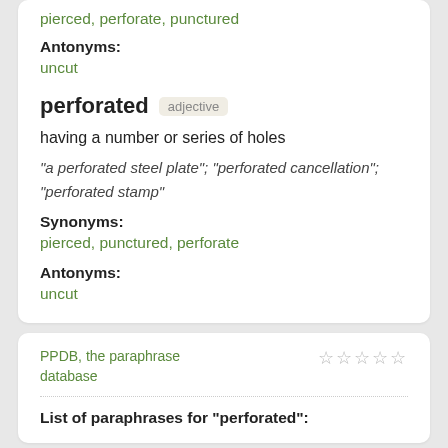pierced, perforate, punctured
Antonyms:
uncut
perforated adjective
having a number or series of holes
"a perforated steel plate"; "perforated cancellation"; "perforated stamp"
Synonyms:
pierced, punctured, perforate
Antonyms:
uncut
PPDB, the paraphrase database
List of paraphrases for "perforated":